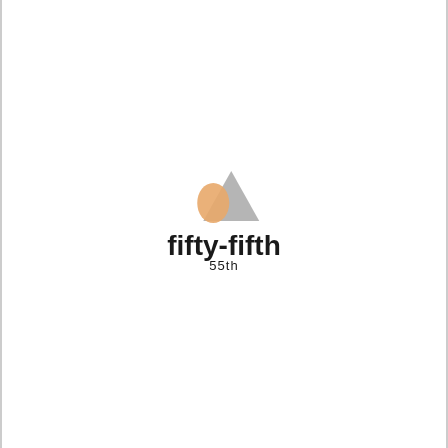[Figure (logo): Logo consisting of two overlapping shapes (a rounded orange/tan blob and a grey triangle/mountain shape) above the text 'fifty-fifth' with '55th' in smaller text below.]